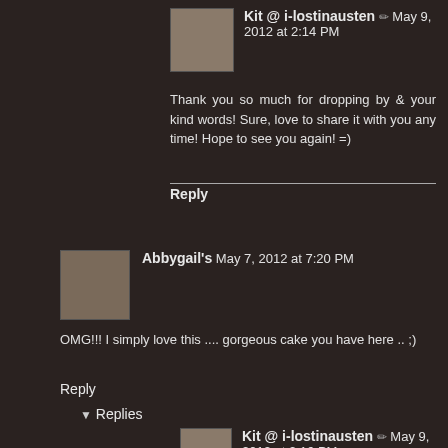Kit @ i-lostinausten ✏ May 9, 2012 at 2:14 PM
Thank you so much for dropping by & your kind words! Sure, love to share it with you any time! Hope to see you again! =)
Reply
Abbygail's May 7, 2012 at 7:20 PM
OMG!!! I simply love this .... gorgeous cake you have here .. ;)
Reply
▼ Replies
Kit @ i-lostinausten ✏ May 9, 2012 at 2:16 PM
Thanks a lot Abbygail for your lovely words & for dropping by! Have a nice day! =)